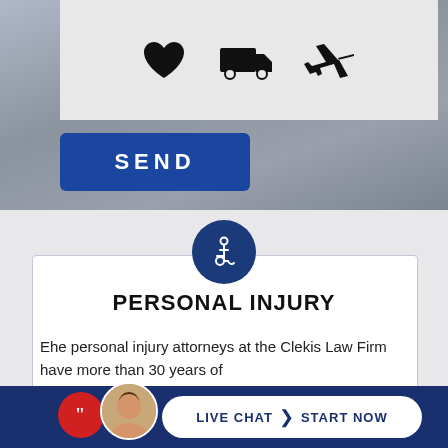[Figure (screenshot): Top section showing emoji icon picker with heart, truck, and airplane icons on a gray background, with a blue SEND button below]
[Figure (infographic): Personal injury law firm card section with wheelchair icon in blue circle, card with title PERSONAL INJURY and descriptive text about the Clekis Law Firm]
PERSONAL INJURY
Ehe personal injury attorneys at the Clekis Law Firm have more than 30 years of
LIVE CHAT  START NOW